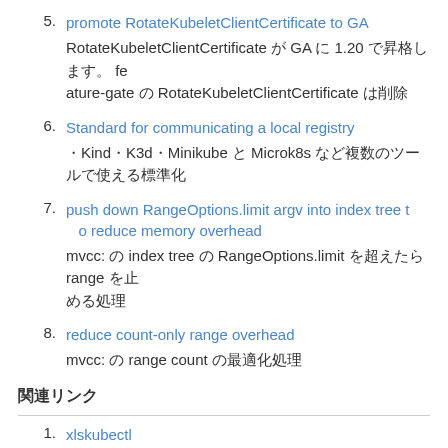5. promote RotateKubeletClientCertificate to GA
RotateKubeletClientCertificate が GA に 1.20 で昇格します。 feature-gate の RotateKubeletClientCertificate は削除
6. Standard for communicating a local registry
・Kind・K3d・Minikube と Microk8s など複数のツールで使える標準化
7. push down RangeOptions.limit argv into index tree to reduce memory overhead
mvcc: の index tree の RangeOptions.limit を超えたら range を止める処理
8. reduce count-only range overhead
mvcc: の range count の最適化処理
関連リンク
1. xlskubectl